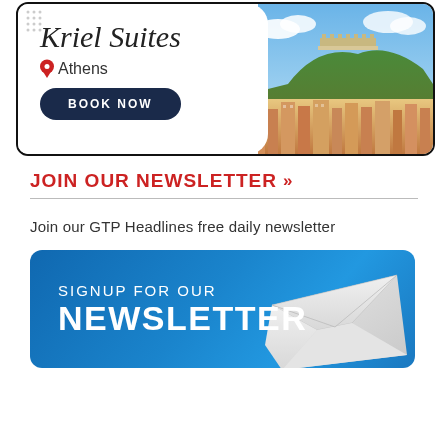[Figure (illustration): Kriel Suites Athens hotel advertisement banner showing script logo text, location pin with Athens text, Book Now button, and Athens cityscape photo with Acropolis in background]
JOIN OUR NEWSLETTER »
Join our GTP Headlines free daily newsletter
[Figure (infographic): Blue gradient signup button banner with envelope icon, text reading SIGNUP FOR OUR NEWSLETTER in white uppercase letters]